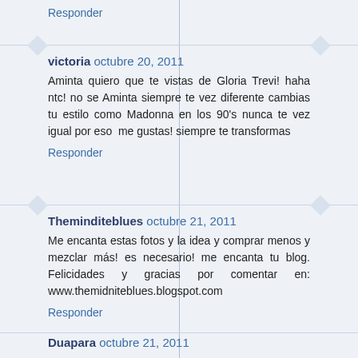Responder
victoria   octubre 20, 2011
Aminta quiero que te vistas de Gloria Trevi! haha ntc! no se Aminta siempre te vez diferente cambias tu estilo como Madonna en los 90's nunca te vez igual por eso  me gustas! siempre te transformas
Responder
Theminditeblues   octubre 21, 2011
Me encanta estas fotos y la idea y comprar menos y mezclar más! es necesario! me encanta tu blog. Felicidades y gracias por comentar en: www.themidniteblues.blogspot.com
Responder
Duapara   octubre 21, 2011